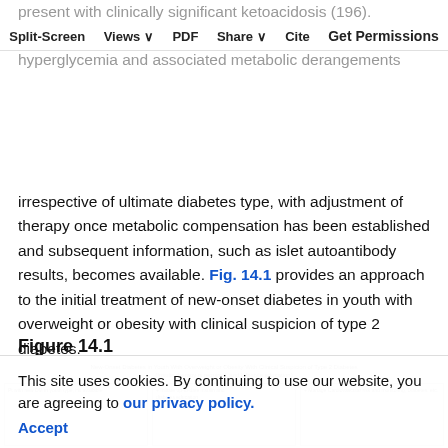present with clinically significant ketoacidosis (196). Therefore, initial therapy should address the hyperglycemia and associated metabolic derangements irrespective of ultimate diabetes type, with adjustment of therapy once metabolic compensation has been established and subsequent information, such as islet autoantibody results, becomes available. Fig. 14.1 provides an approach to the initial treatment of new-onset diabetes in youth with overweight or obesity with clinical suspicion of type 2 diabetes.
Split-Screen  Views  PDF  Share  Cite  Get Permissions
Figure 14.1
[Figure (flowchart): Figure 14.1 flowchart showing approach to new-onset diabetes in youth with overweight or obesity with clinical suspicion of type 2 diabetes — partially obscured by cookie consent banner]
This site uses cookies. By continuing to use our website, you are agreeing to our privacy policy. Accept